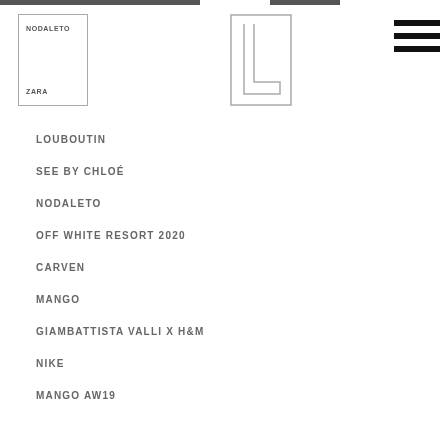[Figure (logo): Navigation logo box with NODALETO and ZARA brand names inside a rectangle outline]
[Figure (logo): Letter L logo outline in top center area]
[Figure (other): Hamburger menu icon (three horizontal black bars) in top right]
LOUBOUTIN
SEE BY CHLOÉ
NODALETO
OFF WHITE RESORT 2020
CARVEN
MANGO
GIAMBATTISTA VALLI X H&M
NIKE
MANGO AW19